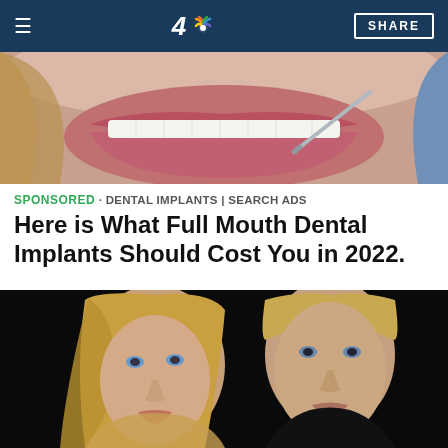NBC 4 | SHARE
[Figure (photo): Close-up photo of woman's mouth with white teeth at dentist, dental instrument visible]
SPONSORED · DENTAL IMPLANTS | SEARCH ADS
Here is What Full Mouth Dental Implants Should Cost You in 2022.
[Figure (photo): Photo of a young blonde woman and a man with short hair, both looking at camera against dark background]